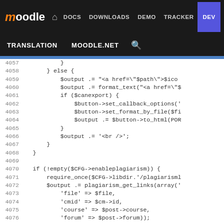moodle DOCS DOWNLOADS DEMO TRACKER DEV
TRANSLATION MOODLE.NET
[Figure (screenshot): Moodle developer documentation site navigation bar with logo, nav links (DOCS, DOWNLOADS, DEMO, TRACKER, DEV highlighted in blue), and secondary nav (TRANSLATION, MOODLE.NET, search icon)]
Source code listing lines 4057-4082 showing PHP code for forum post output with plagiarism checking